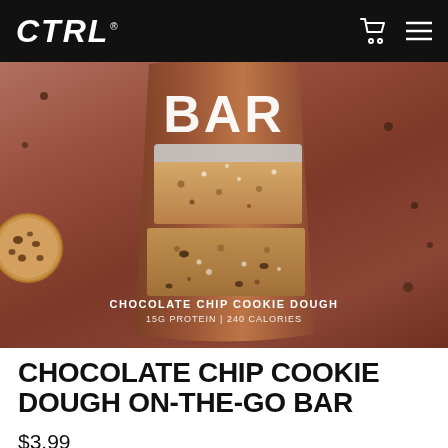CTRL
[Figure (photo): CTRL BAR Chocolate Chip Cookie Dough protein bar packaging showing two cookie dough bars stacked, with text 'CHOCOLATE CHIP COOKIE DOUGH 15G PROTEIN | 240 CALORIES' on a brown background with chocolate chip cookie decorations]
CHOCOLATE CHIP COOKIE DOUGH ON-THE-GO BAR
$3.99